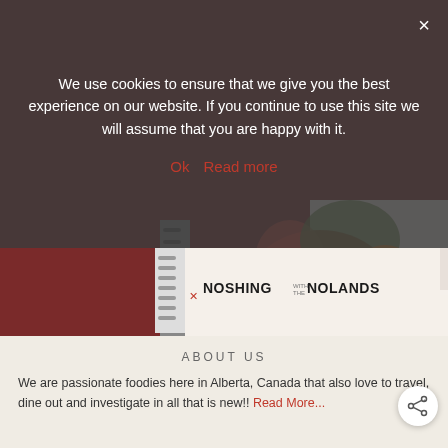We use cookies to ensure that we give you the best experience on our website. If you continue to use this site we will assume that you are happy with it.
Ok   Read more
[Figure (photo): Spiral-bound recipe notebook with 'Noshing with the Nolands' branding, showing jars of pickled vegetables (red tomatoes, green peppers) on the cover, partially obscured by cookie consent overlay]
ABOUT US
We are passionate foodies here in Alberta, Canada that also love to travel, dine out and investigate in all that is new!! Read More...